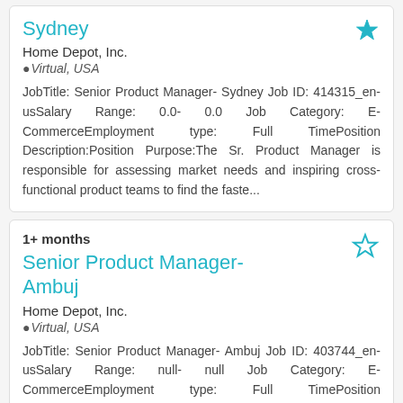Sydney
Home Depot, Inc.
Virtual, USA
JobTitle: Senior Product Manager- Sydney Job ID: 414315_en-usSalary Range: 0.0- 0.0 Job Category: E-CommerceEmployment type: Full TimePosition Description:Position Purpose:The Sr. Product Manager is responsible for assessing market needs and inspiring cross-functional product teams to find the faste...
1+ months
Senior Product Manager- Ambuj
Home Depot, Inc.
Virtual, USA
JobTitle: Senior Product Manager- Ambuj Job ID: 403744_en-usSalary Range: null- null Job Category: E-CommerceEmployment type: Full TimePosition Description:Position Purpose: The Sr. Product Manager is responsible for assessing market needs and inspiring